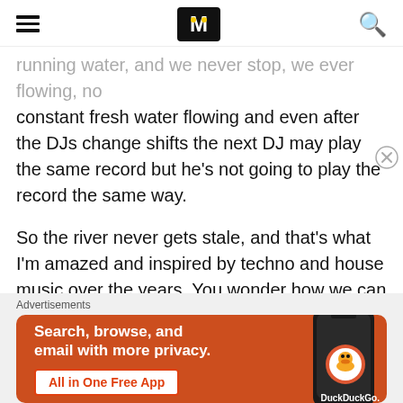[hamburger menu] [Mixmag logo] [search icon]
running water, and we never stop, we ever flowing, no constant fresh water flowing and even after the DJs change shifts the next DJ may play the same record but he's not going to play the record the same way.
So the river never gets stale, and that's what I'm amazed and inspired by techno and house music over the years. You wonder how we can keep coming up with new sounds and new rhythms — there's only so much space on a  sequencer and a drum machine.
[Figure (infographic): DuckDuckGo advertisement banner with orange background, showing phone mockup and text: Search, browse, and email with more privacy. All in One Free App. DuckDuckGo logo.]